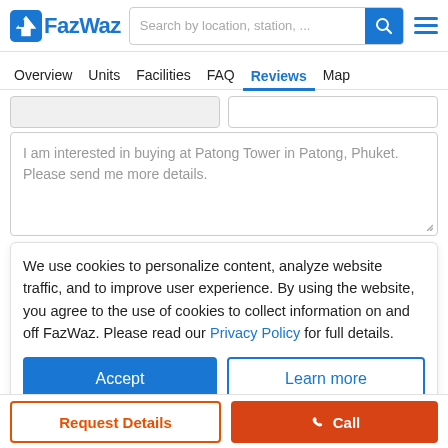FazWaz — Search by location, station, ...
Overview  Units  Facilities  FAQ  Reviews  Map
I am interested in buying at Patong Tower in Patong, Phuket. Please send me more details.
We use cookies to personalize content, analyze website traffic, and to improve user experience. By using the website, you agree to the use of cookies to collect information on and off FazWaz. Please read our Privacy Policy for full details.
Accept
Learn more
Contact with WhatsApp
Request Details
Call